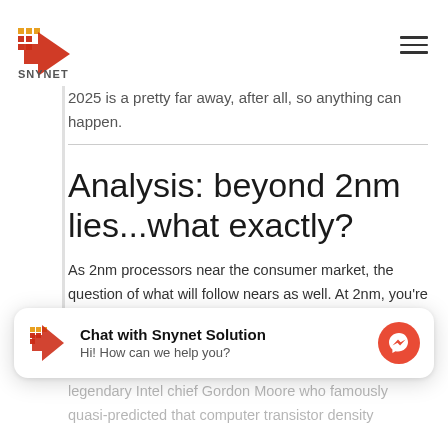SNYNET
not, so it's unclear how any potential delays might affect the company's timetable for the 2nm chips; 2025 is a pretty far away, after all, so anything can happen.
Analysis: beyond 2nm lies...what exactly?
As 2nm processors near the consumer market, the question of what will follow nears as well. At 2nm, you're really talking about transistors that are barely bigger than a string of atoms, and it is becoming physically impossible to make them much smaller.
legendary Intel chief Gordon Moore who famously quasi-predicted that computer transistor density